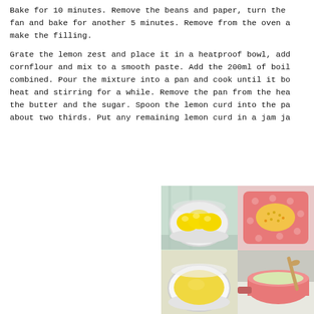Bake for 10 minutes. Remove the beans and paper, turn the fan and bake for another 5 minutes. Remove from the oven a make the filling.
Grate the lemon zest and place it in a heatproof bowl, add cornflour and mix to a smooth paste. Add the 200ml of boil combined. Pour the mixture into a pan and cook until it bo heat and stirring for a while. Remove the pan from the hea the butter and the sugar. Spoon the lemon curd into the pa about two thirds. Put any remaining lemon curd in a jam ja
[Figure (photo): Four photos showing steps in making lemon curd: top-left shows three lemons in a white bowl on a light blue surface; top-right shows grated lemon zest on a pink polka-dot plate; bottom-left shows a white bowl with a yellow mixture (cornflour paste); bottom-right shows a pink saucepan on a stove with pale green lemon curd mixture and a wooden spoon.]